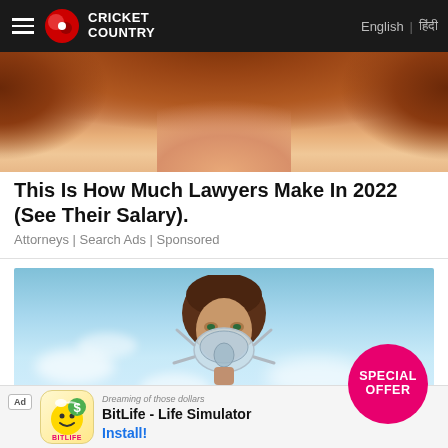Cricket Country | English | हिंदी
[Figure (photo): Close-up photo of a woman with red/auburn hair, cropped to show just hair and lower face]
This Is How Much Lawyers Make In 2022 (See Their Salary).
Attorneys | Search Ads | Sponsored
[Figure (photo): Advertisement photo of a woman wearing a CPAP/oxygen face mask against a blue sky with clouds background, with a pink 'SPECIAL OFFER' circular badge overlaid in the bottom right]
Ad | BitLife - Life Simulator | Install!